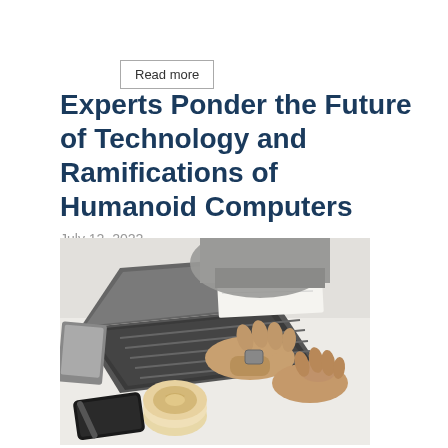Read more
Experts Ponder the Future of Technology and Ramifications of Humanoid Computers
July 12, 2022
[Figure (photo): Overhead view of a person typing on a laptop at a white desk with a notebook, pen, coffee cup, and phone visible]